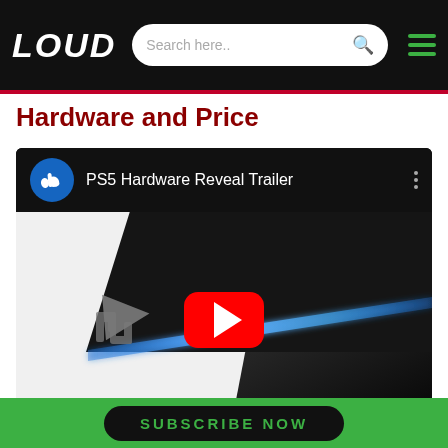LOUD | Search here.. [search icon] [hamburger menu]
Hardware and Price
[Figure (screenshot): YouTube embed showing PS5 Hardware Reveal Trailer with PlayStation channel logo, video title, and a close-up photo of the PS5 console with blue accent lighting and YouTube red play button overlay.]
SUBSCRIBE NOW